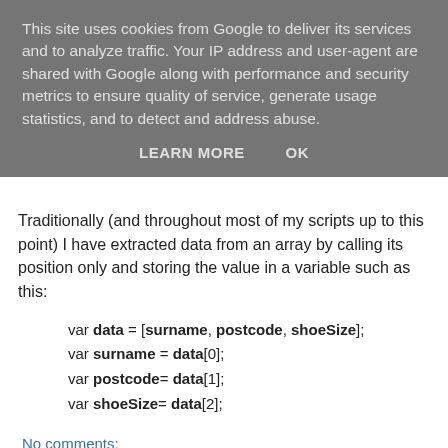This site uses cookies from Google to deliver its services and to analyze traffic. Your IP address and user-agent are shared with Google along with performance and security metrics to ensure quality of service, generate usage statistics, and to detect and address abuse.
LEARN MORE    OK
Traditionally (and throughout most of my scripts up to this point) I have extracted data from an array by calling its position only and storing the value in a variable such as this:
var data = [surname, postcode, shoeSize];
var surname = data[0];
var postcode= data[1];
var shoeSize= data[2];
No comments:
Share